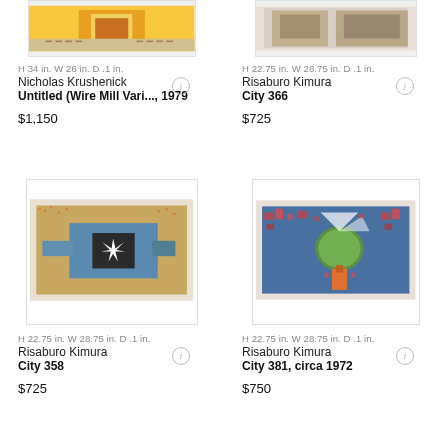[Figure (photo): Partial view of artwork by Nicholas Krushenick - colorful geometric print with yellow and orange, top cropped]
H 34 in. W 26 in. D .1 in.
Nicholas Krushenick
Untitled (Wire Mill Vari..., 1979
$1,150
[Figure (photo): Partial view of artwork by Risaburo Kimura - City 366, top cropped]
H 22.75 in. W 28.75 in. D .1 in.
Risaburo Kimura
City 366
$725
[Figure (photo): Artwork by Risaburo Kimura - City 358, aerial city view with blue central square and white starburst]
H 22.75 in. W 28.75 in. D .1 in.
Risaburo Kimura
City 358
$725
[Figure (photo): Artwork by Risaburo Kimura - City 381, circa 1972, colorful city with green circular element on blue background]
H 22.75 in. W 28.75 in. D .1 in.
Risaburo Kimura
City 381, circa 1972
$750